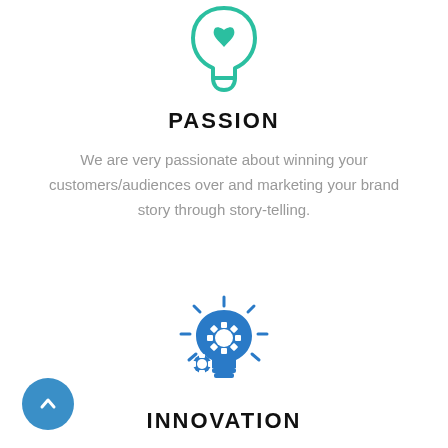[Figure (illustration): Teal outline icon of a human head profile with a heart inside, representing passion]
PASSION
We are very passionate about winning your customers/audiences over and marketing your brand story through story-telling.
[Figure (illustration): Blue icon of a light bulb with gear/cog elements and rays, representing innovation]
INNOVATION
At Tropicana, we not only think ideas, we execute them to full completion in ways that bring value to clients and